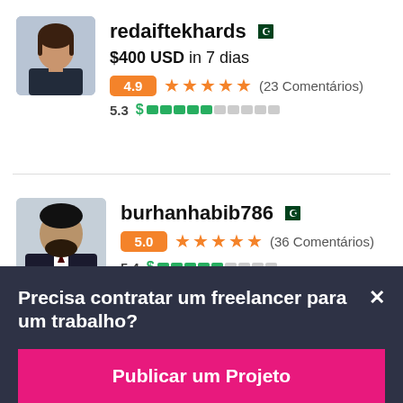redaiftekhards — Pakistan flag
$400 USD in 7 dias
4.9 ★★★★★ (23 Comentários)
5.3 $ ▓▓▓▓▓░░░░░
burhanhabib786 — Pakistan flag
5.0 ★★★★★ (36 Comentários)
5.4 $ ▓▓▓▓▓░░░░
Precisa contratar um freelancer para um trabalho?
Publicar um Projeto